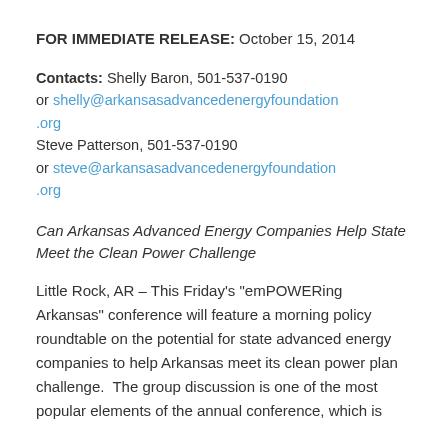FOR IMMEDIATE RELEASE: October 15, 2014
Contacts: Shelly Baron, 501-537-0190 or shelly@arkansasadvancedenergyfoundation.org Steve Patterson, 501-537-0190 or steve@arkansasadvancedenergyfoundation.org
Can Arkansas Advanced Energy Companies Help State Meet the Clean Power Challenge
Little Rock, AR – This Friday's "emPOWERing Arkansas" conference will feature a morning policy roundtable on the potential for state advanced energy companies to help Arkansas meet its clean power plan challenge. The group discussion is one of the most popular elements of the annual conference, which is